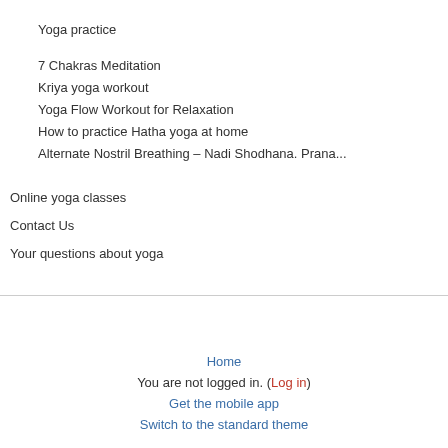Yoga practice
7 Chakras Meditation
Kriya yoga workout
Yoga Flow Workout for Relaxation
How to practice Hatha yoga at home
Alternate Nostril Breathing – Nadi Shodhana. Prana...
Online yoga classes
Contact Us
Your questions about yoga
Home
You are not logged in. (Log in)
Get the mobile app
Switch to the standard theme